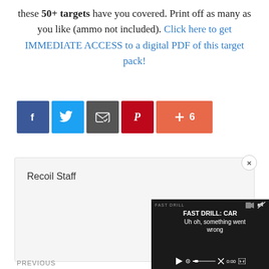these 50+ targets have you covered. Print off as many as you like (ammo not included). Click here to get IMMEDIATE ACCESS to a digital PDF of this target pack!
[Figure (infographic): Social share buttons: Facebook (blue), Twitter (light blue), Email (dark grey), Pinterest (red), and a salmon/orange plus button showing count of 6]
Recoil Staff
[Figure (screenshot): Embedded video player overlay showing 'FAST DRILL: CAR' in title with 'Uh oh, something went wrong' error message and video player controls at 0:00]
PREVIOUS